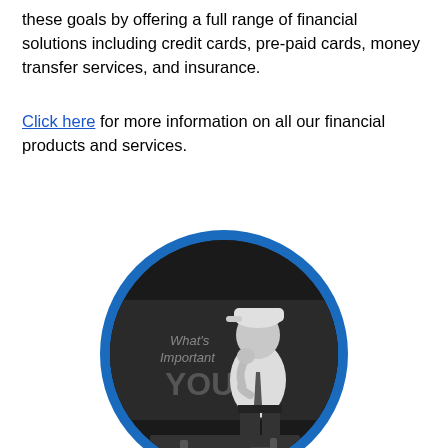these goals by offering a full range of financial solutions including credit cards, pre-paid cards, money transfer services, and insurance.
Click here for more information on all our financial products and services.
[Figure (photo): A black and white circular photo of a man wearing a cap and white shirt, sitting in a thoughtful pose with his hand near his face. Behind him text reads 'What's Important' and 'YOU'.]